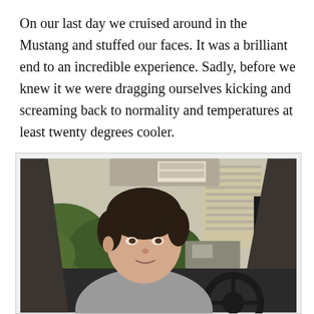On our last day we cruised around in the Mustang and stuffed our faces. It was a brilliant end to an incredible experience. Sadly, before we knew it we were dragging ourselves kicking and screaming back to normality and temperatures at least twenty degrees cooler.
[Figure (photo): A young man sitting in the driver's seat of a Mustang car, smiling slightly at the camera. Through the windows, green trees and Las Vegas strip buildings including a sign with 'O' (Cirque du Soleil) are visible. The interior shows a steering wheel and sun visor with a label on it.]